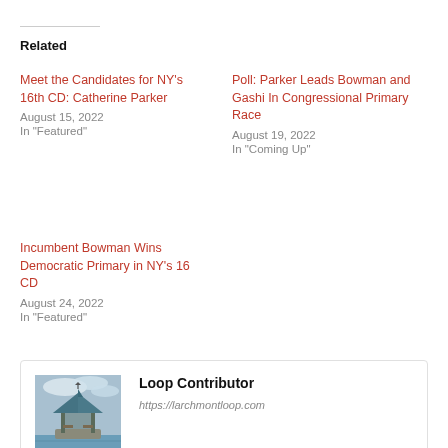Related
Meet the Candidates for NY's 16th CD: Catherine Parker
August 15, 2022
In "Featured"
Poll: Parker Leads Bowman and Gashi In Congressional Primary Race
August 19, 2022
In "Coming Up"
Incumbent Bowman Wins Democratic Primary in NY's 16 CD
August 24, 2022
In "Featured"
[Figure (photo): A gazebo structure near water, cloudy sky background]
Loop Contributor
https://larchmontloop.com